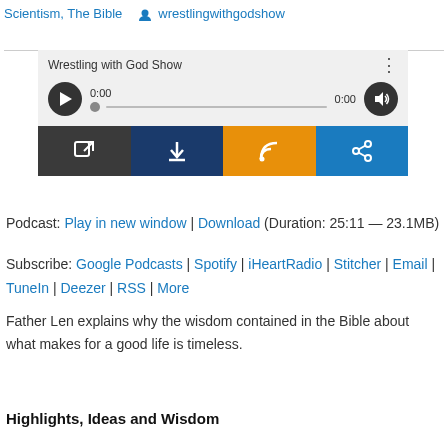Scientism, The Bible   wrestlingwithgodshow
[Figure (screenshot): Audio player widget for 'Wrestling with God Show' showing play button, progress bar at 0:00, volume button, and four action buttons: open in new window (dark), download (navy), RSS feed (orange), share (blue).]
Podcast: Play in new window | Download (Duration: 25:11 — 23.1MB)
Subscribe: Google Podcasts | Spotify | iHeartRadio | Stitcher | Email | TuneIn | Deezer | RSS | More
Father Len explains why the wisdom contained in the Bible about what makes for a good life is timeless.
Highlights, Ideas and Wisdom